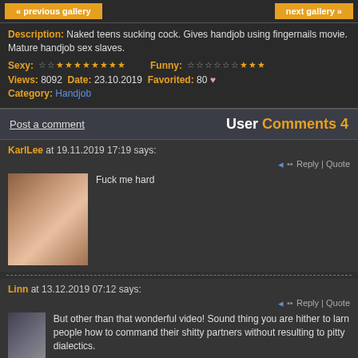« previous gallery   next gallery »
Description: Naked teens sucking cock. Gives handjob using fingernails movie. Mature handjob sex slaves.
Sexy: ☆☆★★★★★★★★  Funny: ☆☆☆☆☆☆★★★
Views: 8092  Date: 23.10.2019  Favorited: 80 ♥
Category: Handjob
Post a comment   User Comments 4
KarlLee at 19.11.2019 17:19 says:
Fuck me hard
Linn at 13.12.2019 07:12 says:
But other than that wonderful video! Sound thing you are hither to larn people how to command their shitty partners without resulting to pitty dialectics.